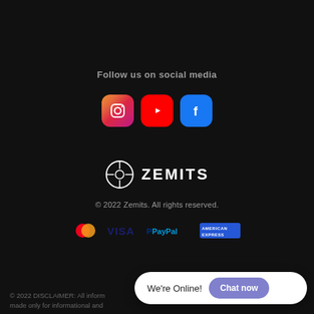Follow us on social media
[Figure (logo): Social media icons: Instagram, YouTube, Facebook]
[Figure (logo): Zemits logo with crosshair icon and ZEMITS wordmark]
© 2022 Zemits. All rights reserved.
[Figure (logo): Payment method logos: Mastercard, VISA, PayPal, American Express]
© 2022 DISCLAIMER: All inform... all other marketing materials are made only for informational and
We're Online!
Chat now